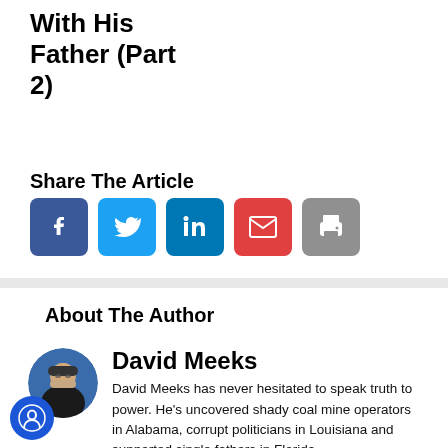With His Father (Part 2)
Share The Article
[Figure (infographic): Social sharing buttons: Facebook (blue), Twitter (light blue), LinkedIn (dark blue), Email (red), Print (gray)]
About The Author
[Figure (photo): Circular headshot of David Meeks]
David Meeks
David Meeks has never hesitated to speak truth to power. He's uncovered shady coal mine operators in Alabama, corrupt politicians in Louisiana and supported single fathers in Florida